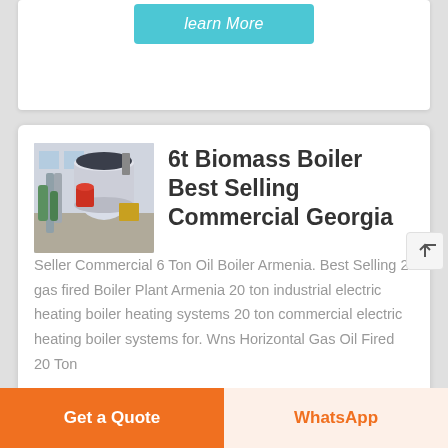learn More
[Figure (photo): Industrial biomass boiler in a factory setting]
6t Biomass Boiler Best Selling Commercial Georgia
Seller Commercial 6 Ton Oil Boiler Armenia. Best Selling 2t gas fired Boiler Plant Armenia 20 ton industrial electric heating boiler heating systems 20 ton commercial electric heating boiler systems for. Wns Horizontal Gas Oil Fired 20 Ton
Get a Quote
WhatsApp